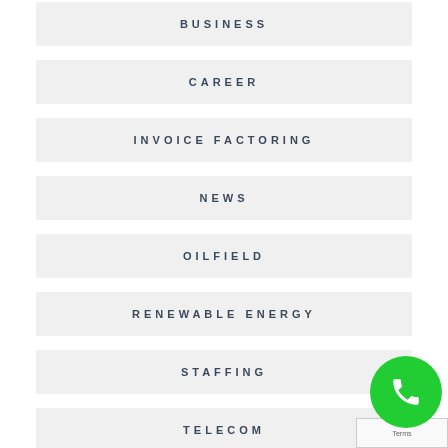BUSINESS
CAREER
INVOICE FACTORING
NEWS
OILFIELD
RENEWABLE ENERGY
STAFFING
TELECOM